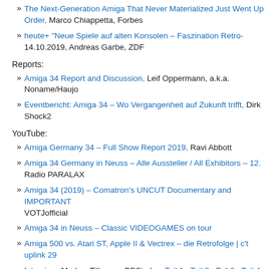» The Next-Generation Amiga That Never Materialized Just Went Up for Order, Marco Chiappetta, Forbes
» heute+ "Neue Spiele auf alten Konsolen – Faszination Retro-..., 14.10.2019, Andreas Garbe, ZDF
Reports:
» Amiga 34 Report and Discussion, Leif Oppermann, a.k.a. Noname/Haujo...
» Eventbericht: Amiga 34 – Wo Vergangenheit auf Zukunft trifft, Dirk... Shock2
YouTube:
» Amiga Germany 34 – Full Show Report 2019, Ravi Abbott
» Amiga 34 Germany in Neuss – Alle Aussteller / All Exhibitors – 12.... Radio PARALAX
» Amiga 34 (2019) – Comatron's UNCUT Documentary and IMPORTANT... VOTJofficial
» Amiga 34 in Neuss – Classic VIDEOGAMES on tour
» Amiga 500 vs. Atari ST, Apple II & Vectrex – die Retrofolge | c't uplink 29...
» Interview: Markus Tillmann, BBSindex: Teil 1 , Teil 2 , Teil 3 , Teil 4
» Fixed! BBSindex LiveStream 10/2019 – Sondersendung zur Amiga 34 in...
» Amiga 34 show – Secret meeting and Checkmate Future Plans Talk, James...